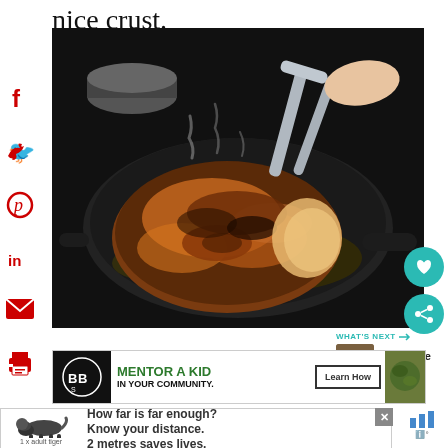nice crust.
[Figure (photo): A seasoned steak searing in a cast iron skillet, with tongs holding it, steam rising, butter visible in the pan]
[Figure (infographic): WHAT'S NEXT arrow with thumbnail of Sous Vide Carnitas]
[Figure (infographic): Big Brothers Big Sisters ad: MENTOR A KID IN YOUR COMMUNITY. Learn How button]
[Figure (infographic): How far is far enough? Know your distance. 2 metres saves lives. 1 x adult tiger. Close button X]